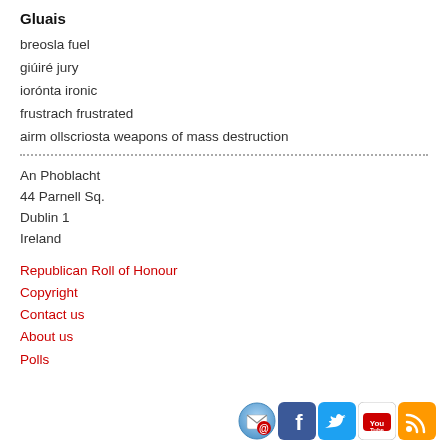Gluais
breosla fuel
giúiré jury
iorónt­a ironic
frustrach frustrated
airm ollscriosta weapons of mass destruction
An Phoblacht
44 Parnell Sq.
Dublin 1
Ireland
Republican Roll of Honour
Copyright
Contact us
About us
Polls
[Figure (illustration): Row of social media icons: email/newsletter, Facebook, Twitter, YouTube, RSS feed]